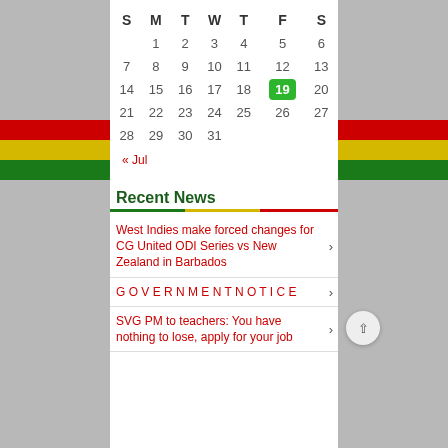| S | M | T | W | T | F | S |
| --- | --- | --- | --- | --- | --- | --- |
|  | 1 | 2 | 3 | 4 | 5 | 6 |
| 7 | 8 | 9 | 10 | 11 | 12 | 13 |
| 14 | 15 | 16 | 17 | 18 | 19 | 20 |
| 21 | 22 | 23 | 24 | 25 | 26 | 27 |
| 28 | 29 | 30 | 31 |  |  |  |
« Jul
Recent News
West Indies make forced changes for CG United ODI Series vs New Zealand in Barbados
G O V E R N M E N T N O T I C E
SVG PM to teachers: You have nothing to lose, apply for your job